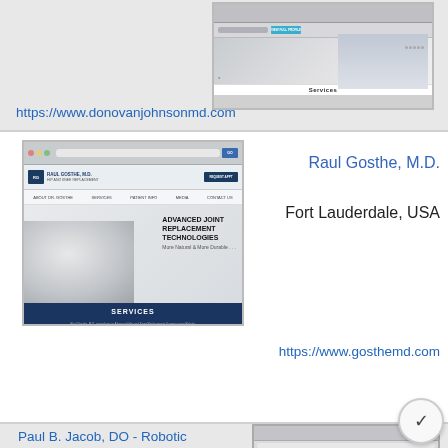[Figure (screenshot): Screenshot of donovanjohnsonmd.com website showing a doctor and 'Services' navigation]
https://www.donovanjohnsonmd.com
[Figure (screenshot): Screenshot of Raul Gosthe M.D. website showing Advanced Joint Replacement Technologies with hip joint image and Services bar]
Raul Gosthe, M.D.
Fort Lauderdale, USA
https://www.gosthemd.com
[Figure (screenshot): Screenshot of Paul B. Jacob Robotic Assisted Hip & Knee replacement website]
Paul B. Jacob, DO - Robotic Assisted Hip & Knee